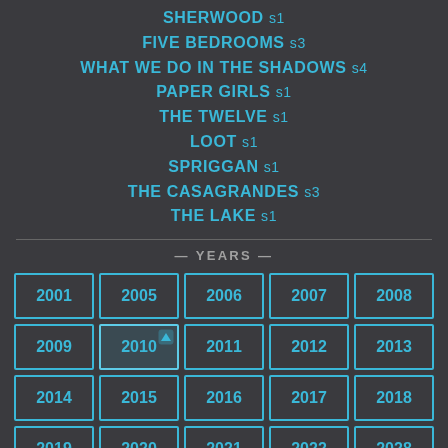SHERWOOD s1
FIVE BEDROOMS s3
WHAT WE DO IN THE SHADOWS s4
PAPER GIRLS s1
THE TWELVE s1
LOOT s1
SPRIGGAN s1
THE CASAGRANDES s3
THE LAKE s1
— YEARS —
2001 2005 2006 2007 2008 2009 2010 2011 2012 2013 2014 2015 2016 2017 2018 2019 2020 2021 2022 2028